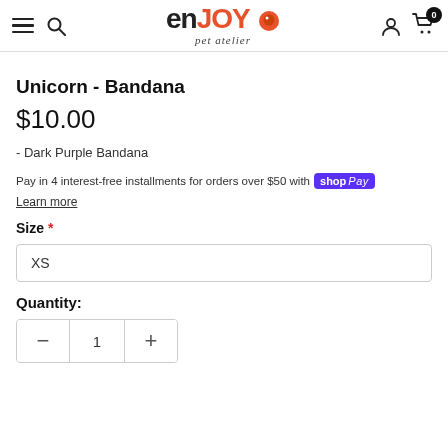enJOY pet atelier — navigation header with menu, search, account, and cart icons
Unicorn - Bandana
$10.00
- Dark Purple Bandana
Pay in 4 interest-free installments for orders over $50 with shop Pay
Learn more
Size *
XS
Quantity:
— 1 +